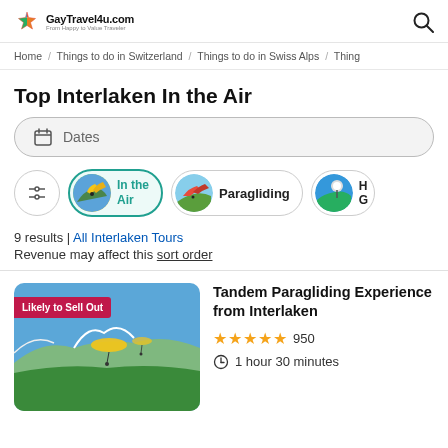GayTravel4u.com
Home / Things to do in Switzerland / Things to do in Swiss Alps / Thing
Top Interlaken In the Air
Dates
[Figure (screenshot): Filter category chips: settings icon, In the Air (active/selected with teal border), Paragliding, H G (partially visible)]
9 results | All Interlaken Tours
Revenue may affect this sort order
[Figure (photo): Aerial photo of paragliders over Interlaken with mountains and green valley below. Badge reads 'Likely to Sell Out']
Tandem Paragliding Experience from Interlaken
950
1 hour 30 minutes